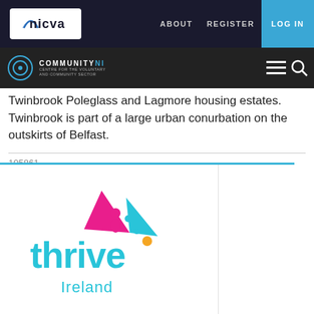NICVA | ABOUT | REGISTER | LOG IN
COMMUNITY NI
Twinbrook Poleglass and Lagmore housing estates. Twinbrook is part of a large urban conurbation on the outskirts of Belfast.
105861
[Figure (logo): Thrive Ireland logo — cyan/turquoise wordmark 'thrive' with colourful bird/figure graphic above and 'Ireland' text below in cyan]